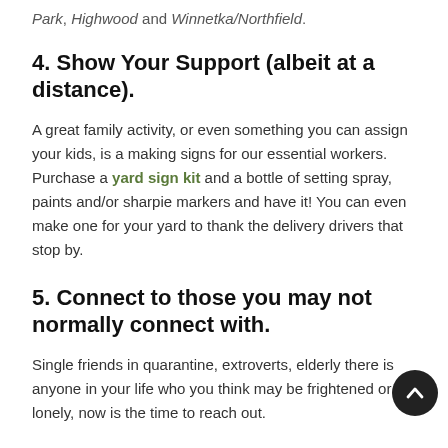Park, Highwood and Winnetka/Northfield.
4. Show Your Support (albeit at a distance).
A great family activity, or even something you can assign your kids, is a making signs for our essential workers. Purchase a yard sign kit and a bottle of setting spray, paints and/or sharpie markers and have it! You can even make one for your yard to thank the delivery drivers that stop by.
5. Connect to those you may not normally connect with.
Single friends in quarantine, extroverts, elderly there is anyone in your life who you think may be frightened or lonely, now is the time to reach out.